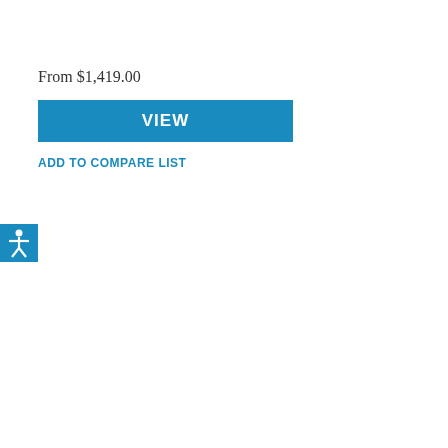From $1,419.00
VIEW
ADD TO COMPARE LIST
[Figure (illustration): Accessibility icon: blue square with white human figure in universal accessibility pose (outstretched arms and one leg raised)]